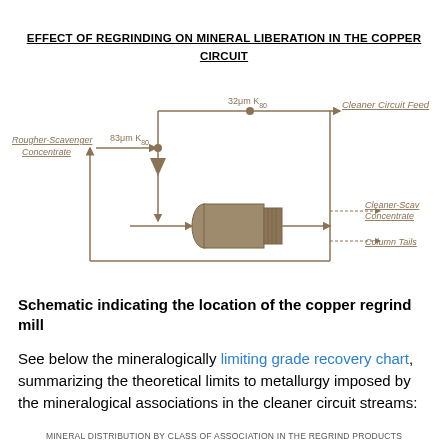EFFECT OF REGRINDING ON MINERAL LIBERATION IN THE COPPER CIRCUIT
[Figure (schematic): Process flow schematic showing regrind mill in copper circuit. Rougher-Scavenger Concentrate enters at 83μm K80, passes through a regrind mill, exits at 32μm K80 splitting to Cleaner Circuit Feed (top) and a circuit with Cleaner-Scav Concentrate and Column Tails outputs. A recycle loop returns from column tails back to mill feed.]
Schematic indicating the location of the copper regrind mill
See below the mineralogically limiting grade recovery chart, summarizing the theoretical limits to metallurgy imposed by the mineralogical associations in the cleaner circuit streams:
MINERAL DISTRIBUTION BY CLASS OF ASSOCIATION IN THE REGRIND PRODUCTS